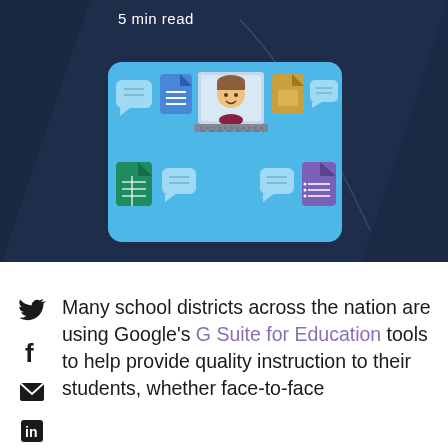5 min read
[Figure (illustration): Illustration of a student on a laptop video call, surrounded by Google Workspace/G Suite document icons (Docs, Sheets, Slides, Gmail/chat bubbles) on a blue rounded-rectangle background card]
[Figure (infographic): Social sharing icons: Twitter bird, Facebook f, Email envelope, LinkedIn logo stacked vertically on left margin]
Many school districts across the nation are using Google's G Suite for Education tools to help provide quality instruction to their students, whether face-to-face